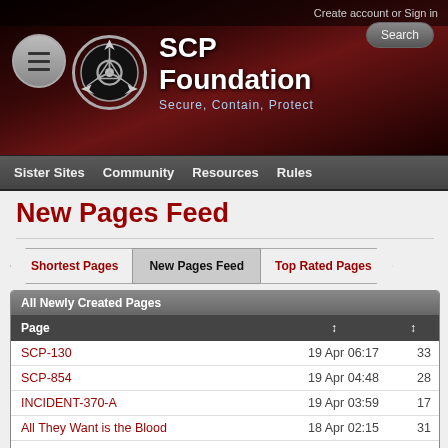Create account or Sign in
SCP Foundation – Secure, Contain, Protect
Sister Sites  Community  Resources  Rules
New Pages Feed
| Page | ↕ | ↕ |
| --- | --- | --- |
| SCP-130 | 19 Apr 06:17 | 33 |
| SCP-854 | 19 Apr 04:48 | 28 |
| INCIDENT-370-A | 19 Apr 03:59 | 17 |
| All They Want is the Blood | 18 Apr 02:15 | 31 |
| A Fitting End | 16 Apr 15:28 | 14 |
| SCP-192 | 16 Apr 00:35 | 28 |